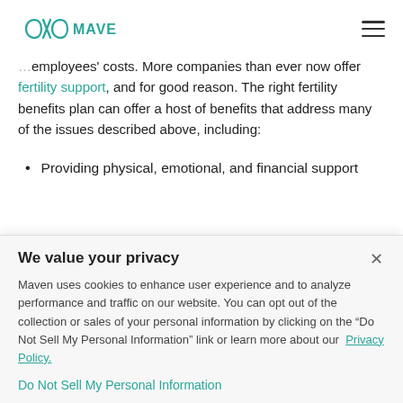DOC MAVEN
employees' costs. More companies than ever now offer fertility support, and for good reason. The right fertility benefits plan can offer a host of benefits that address many of the issues described above, including:
Providing physical, emotional, and financial support
We value your privacy
Maven uses cookies to enhance user experience and to analyze performance and traffic on our website. You can opt out of the collection or sales of your personal information by clicking on the “Do Not Sell My Personal Information” link or learn more about our Privacy Policy.
Do Not Sell My Personal Information